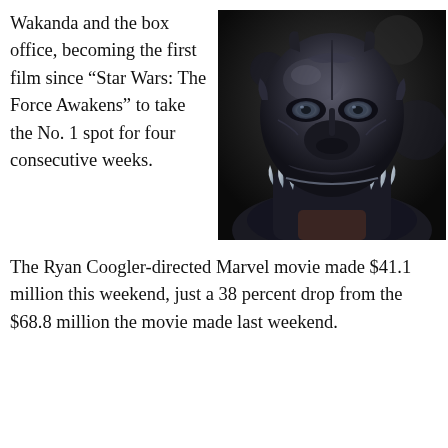Wakanda and the box office, becoming the first film since “Star Wars: The Force Awakens” to take the No. 1 spot for four consecutive weeks.
[Figure (photo): Close-up photo of the Black Panther character in a dark metallic suit/helmet with white claw-like details, from the Marvel movie.]
The Ryan Coogler-directed Marvel movie made $41.1 million this weekend, just a 38 percent drop from the $68.8 million the movie made last weekend.